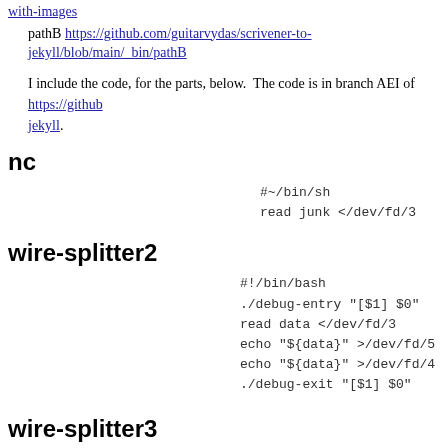with-images (link)
pathB https://github.com/guitarvydas/scrivener-to-jekyll/blob/main/_bin/pathB
I include the code, for the parts, below.  The code is in branch AEI of https://github... jekyll.
nc
#~/bin/sh
read junk </dev/fd/3
wire-splitter2
#!/bin/bash
./debug-entry "[$1] $0"
read data </dev/fd/3
echo "${data}" >/dev/fd/5
echo "${data}" >/dev/fd/4
./debug-exit "[$1] $0"
wire-splitter3